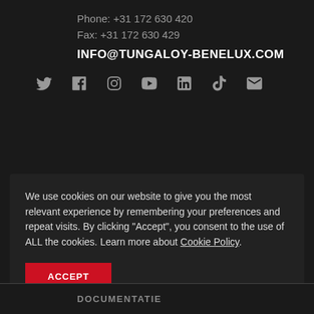Phone: +31 172 630 420
Fax: +31 172 630 429
INFO@TUNGALOY-BENELUX.COM
[Figure (infographic): Social media icons: Twitter, Facebook, Instagram, YouTube, LinkedIn, TikTok, Email]
We use cookies on our website to give you the most relevant experience by remembering your preferences and repeat visits. By clicking "Accept", you consent to the use of ALL the cookies. Learn more about Cookie Policy.
ACCEPT
DOCUMENTATIE